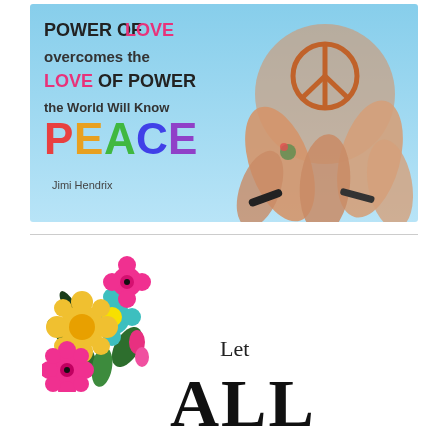[Figure (illustration): Inspirational image with hands forming a peace sign against a sky-blue background. Text reads: 'POWER OF LOVE overcomes the LOVE OF POWER the World Will Know PEACE' attributed to Jimi Hendrix. Colorful rainbow lettering for PEACE and pink/magenta for LOVE.]
[Figure (illustration): Colorful floral cluster illustration with pink, yellow, teal flowers and green leaves, followed by text 'Let' and large bold 'ALL']
Let
ALL